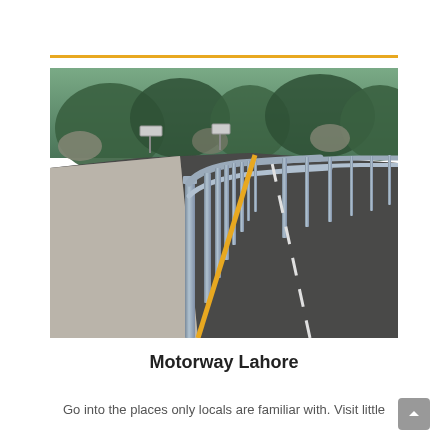[Figure (photo): A photograph of Motorway Lahore showing a road with guardrails on the left side, a yellow center line, trees and rocks in the background, and a gravel shoulder. The road curves into the distance.]
Motorway Lahore
Go into the places only locals are familiar with. Visit little